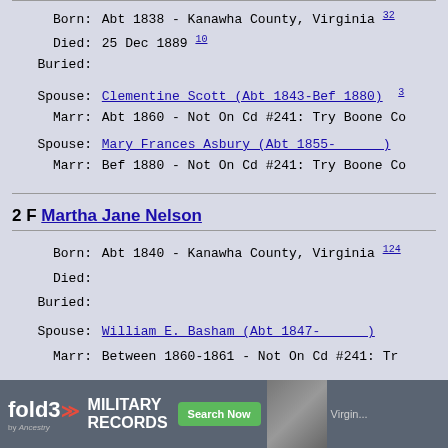Born: Abt 1838 - Kanawha County, Virginia [32]
Died: 25 Dec 1889 [10]
Buried:
Spouse: Clementine Scott (Abt 1843-Bef 1880) [3]
Marr: Abt 1860 - Not On Cd #241: Try Boone Co
Spouse: Mary Frances Asbury (Abt 1855-       )
Marr: Bef 1880 - Not On Cd #241: Try Boone Co
2 F Martha Jane Nelson
Born: Abt 1840 - Kanawha County, Virginia [124]
Died:
Buried:
Spouse: William E. Basham (Abt 1847-       )
Marr: Between 1860-1861 - Not On Cd #241: Tr
[Figure (infographic): fold3 by Ancestry advertisement banner for Military Records with Search Now button and soldier photo]